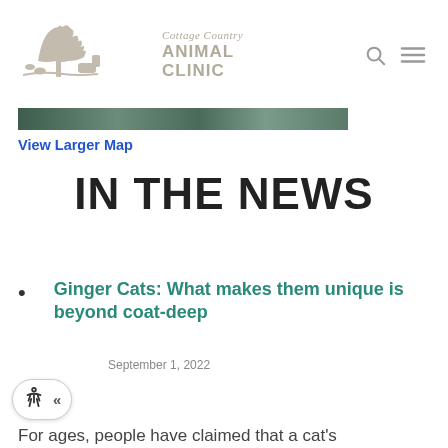[Figure (logo): Cottage Country Animal Clinic logo with illustrated tree and animals silhouette in gray/tan, with italic script 'Cottage Country' above bold 'ANIMAL CLINIC' text, and search/menu icons to the right]
[Figure (screenshot): Aerial/satellite map image strip showing a location view, cropped horizontally]
View Larger Map
IN THE NEWS
Ginger Cats: What makes them unique is beyond coat-deep
September 1, 2022
[Figure (other): Accessibility widget button with wheelchair icon and double left chevron]
For ages, people have claimed that a cat's